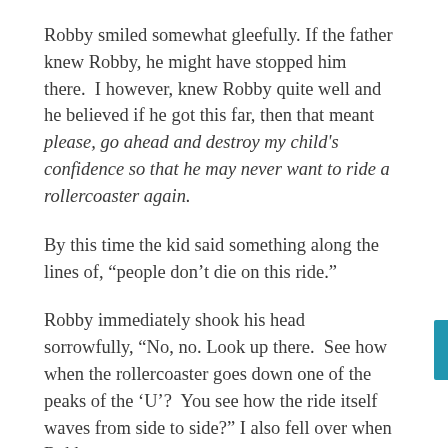Robby smiled somewhat gleefully. If the father knew Robby, he might have stopped him there.  I however, knew Robby quite well and he believed if he got this far, then that meant please, go ahead and destroy my child's confidence so that he may never want to ride a rollercoaster again.
By this time the kid said something along the lines of, “people don’t die on this ride.”
Robby immediately shook his head sorrowfully, “No, no. Look up there.  See how when the rollercoaster goes down one of the peaks of the ‘U’?  You see how the ride itself waves from side to side?” I also fell over when Robby